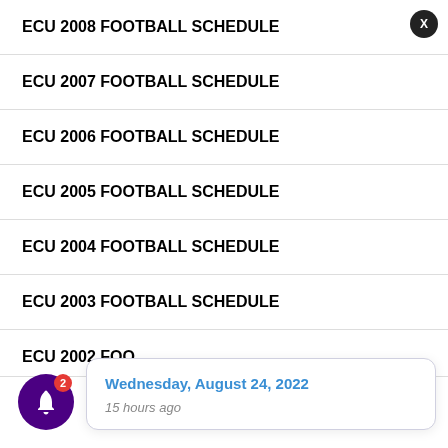ECU 2008 FOOTBALL SCHEDULE
ECU 2007 FOOTBALL SCHEDULE
ECU 2006 FOOTBALL SCHEDULE
ECU 2005 FOOTBALL SCHEDULE
ECU 2004 FOOTBALL SCHEDULE
ECU 2003 FOOTBALL SCHEDULE
ECU 2002 FOO...
Wednesday, August 24, 2022
15 hours ago